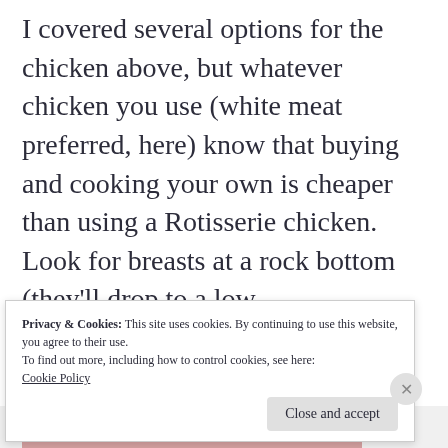I covered several options for the chicken above, but whatever chicken you use (white meat preferred, here) know that buying and cooking your own is cheaper than using a Rotisserie chicken. Look for breasts at a rock bottom (they'll drop to a low
Privacy & Cookies: This site uses cookies. By continuing to use this website, you agree to their use.
To find out more, including how to control cookies, see here:
Cookie Policy
Close and accept